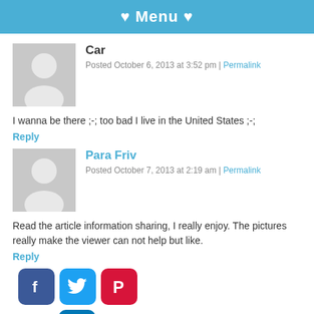♥ Menu ♥
Car
Posted October 6, 2013 at 3:52 pm | Permalink
I wanna be there ;-; too bad I live in the United States ;-;
Reply
Para Friv
Posted October 7, 2013 at 2:19 am | Permalink
Read the article information sharing, I really enjoy. The pictures really make the viewer can not help but like.
Reply
[Figure (infographic): Social media share icons: Facebook, Twitter, Pinterest, LinkedIn]